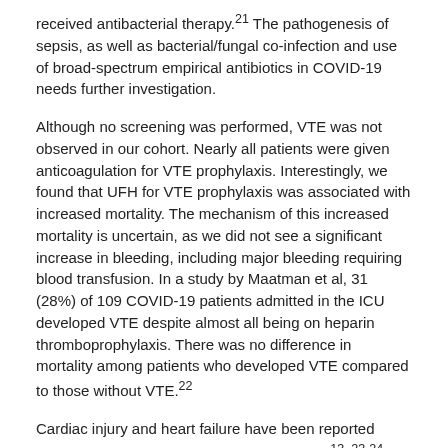received antibacterial therapy.²¹ The pathogenesis of sepsis, as well as bacterial/fungal co-infection and use of broad-spectrum empirical antibiotics in COVID-19 needs further investigation.
Although no screening was performed, VTE was not observed in our cohort. Nearly all patients were given anticoagulation for VTE prophylaxis. Interestingly, we found that UFH for VTE prophylaxis was associated with increased mortality. The mechanism of this increased mortality is uncertain, as we did not see a significant increase in bleeding, including major bleeding requiring blood transfusion. In a study by Maatman et al, 31 (28%) of 109 COVID-19 patients admitted in the ICU developed VTE despite almost all being on heparin thromboprophylaxis. There was no difference in mortality among patients who developed VTE compared to those without VTE.²²
Cardiac injury and heart failure have been reported among patients hospitalized with COVID-19.¹³⁻²⁴ In a meta-analysis by Santoso et al, cardiac injury was associated with mortality, need for ICU care and severity of disease in patients with COVID-19.²⁵ In one report of 4 fatal COVID-19 cases,²⁶ only focal mild fibrosis and mild myocardial hypertrophy were seen on postmortem needle core biopsy of the heart, changes likely related to their underlying